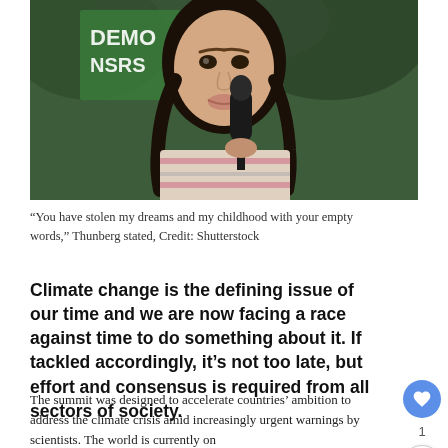[Figure (photo): Young woman with braided hair speaking into a microphone at an outdoor event with protest signs in the background]
“You have stolen my dreams and my childhood with your empty words,” Thunberg stated, Credit: Shutterstock
Climate change is the defining issue of our time and we are now facing a race against time to do something about it. If tackled accordingly, it’s not too late, but effort and consensus is required from all sectors of society.
The summit was designed to accelerate countries’ ambition to address the climate crisis amid increasingly urgent warnings by scientists. The world is currently on